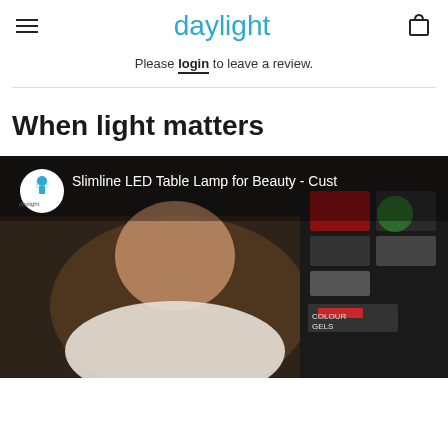daylight
Please login to leave a review.
When light matters
[Figure (screenshot): Video thumbnail showing a woman in a white top with Daylight channel logo and title 'Slimline LED Table Lamp for Beauty - Cust' visible. Background shows beauty product displays.]